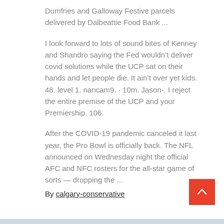Dumfries and Galloway Festive parcels delivered by Dalbeattie Food Bank ...
I look forward to lots of sound bites of Kenney and Shandro saying the Fed wouldn’t deliver covid solutions while the UCP sat on their hands and let people die. It ain’t over yet kids. 48. level 1. nancam9. · 10m. Jason-. I reject the entire premise of the UCP and your Premiership. 106.
After the COVID-19 pandemic canceled it last year, the Pro Bowl is officially back. The NFL announced on Wednesday night the official AFC and NFC rosters for the all-star game of sorts — dropping the ...
By calgary-conservative